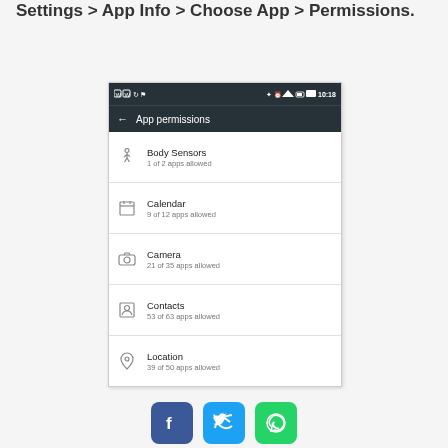Settings > App Info > Choose App > Permissions.
[Figure (screenshot): Android App permissions screen showing: Body Sensors (1 of 2 apps allowed), Calendar (9 of 12 apps allowed), Camera (21 of 35 apps allowed), Contacts (53 of 63 apps allowed), Location (39 of 50 apps allowed). Dark header bar with back arrow and 'App permissions' title. Status bar shows time 10:18.]
[Figure (illustration): Social sharing buttons: Facebook (blue), Twitter (light blue), WhatsApp (green)]